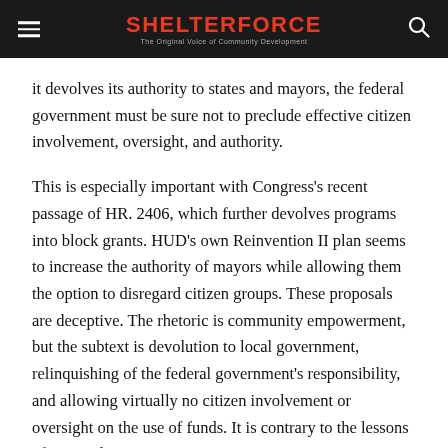SHELTERFORCE — The Original Voice of Community Development
it devolves its authority to states and mayors, the federal government must be sure not to preclude effective citizen involvement, oversight, and authority.
This is especially important with Congress's recent passage of HR. 2406, which further devolves programs into block grants. HUD's own Reinvention II plan seems to increase the authority of mayors while allowing them the option to disregard citizen groups. These proposals are deceptive. The rhetoric is community empowerment, but the subtext is devolution to local government, relinquishing of the federal government's responsibility, and allowing virtually no citizen involvement or oversight on the use of funds. It is contrary to the lessons of our study.